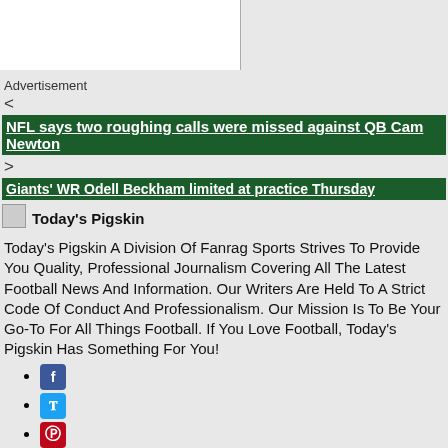Advertisement
<
NFL says two roughing calls were missed against QB Cam Newton
>
Giants' WR Odell Beckham limited at practice Thursday
[Figure (logo): Today's Pigskin logo image placeholder]
Today's Pigskin
Today's Pigskin A Division Of Fanrag Sports Strives To Provide You Quality, Professional Journalism Covering All The Latest Football News And Information. Our Writers Are Held To A Strict Code Of Conduct And Professionalism. Our Mission Is To Be Your Go-To For All Things Football. If You Love Football, Today's Pigskin Has Something For You!
Facebook
Twitter
Pinterest
Google+
YouTube
Tumblr
RSS